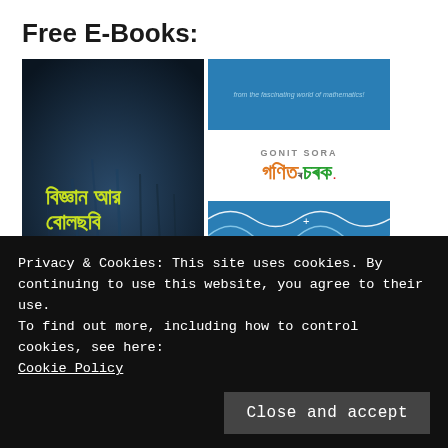Free E-Books:
[Figure (photo): Two e-book covers side by side. Left: Bengali science book cover with dark blue/teal background and Bengali text. Right: Two-part cover showing 'Gonit Sora' math book with wave diagram on a blue background.]
More »
[Figure (screenshot): Gonit Sora Twitter widget card with logo icon and Twitter bird icon]
Privacy & Cookies: This site uses cookies. By continuing to use this website, you agree to their use.
To find out more, including how to control cookies, see here:
Cookie Policy
Close and accept